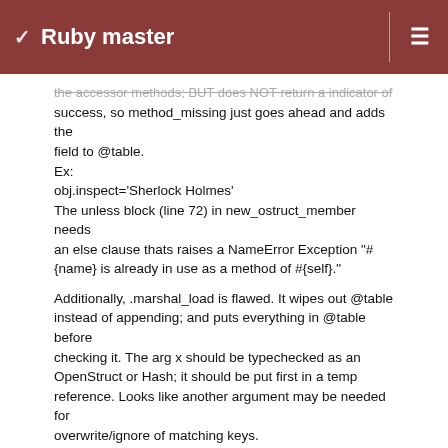Ruby master
the accessor methods; BUT does NOT return a indicator of success, so method_missing just goes ahead and adds the field to @table.
Ex:
obj.inspect='Sherlock Holmes'
The unless block (line 72) in new_ostruct_member needs an else clause thats raises a NameError Exception "#{name} is already in use as a method of #{self}."

Additionally, .marshal_load is flawed. It wipes out @table instead of appending; and puts everything in @table before checking it. The arg x should be typechecked as an OpenStruct or Hash; it should be put first in a temp reference. Looks like another argument may be needed for overwrite/ignore of matching keys.
=end
Updated by znz (Kazuhiro NISHIYAMA) over 12 years ago  ··· #4
Category set to lib
Target version set to 2.0.0
=begin